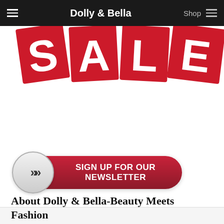Dolly & Bella  Shop
[Figure (illustration): Large red SALE letters on red background tiles, partially cropped at top]
[Figure (infographic): Newsletter sign-up button: circular grey chevron button on left, red pill-shaped button with text 'Sign Up For Our Newsletter' on right]
About Dolly & Bella-Beauty Meets Fashion